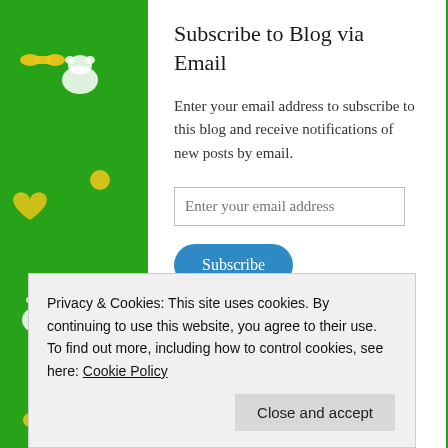Subscribe to Blog via Email
Enter your email address to subscribe to this blog and receive notifications of new posts by email.
Enter your email address
Subscribe
Join 42 other followers
Archives
Privacy & Cookies: This site uses cookies. By continuing to use this website, you agree to their use.
To find out more, including how to control cookies, see here: Cookie Policy
Close and accept